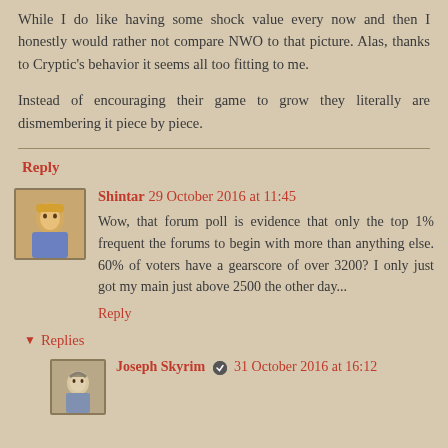While I do like having some shock value every now and then I honestly would rather not compare NWO to that picture. Alas, thanks to Cryptic's behavior it seems all too fitting to me.
Instead of encouraging their game to grow they literally are dismembering it piece by piece.
Reply
Shintar 29 October 2016 at 11:45
Wow, that forum poll is evidence that only the top 1% frequent the forums to begin with more than anything else. 60% of voters have a gearscore of over 3200? I only just got my main just above 2500 the other day...
Reply
Replies
Joseph Skyrim 31 October 2016 at 16:12